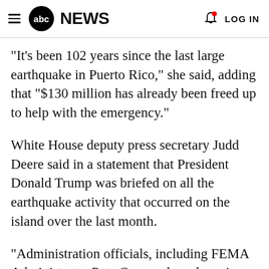abc NEWS  LOG IN
"It's been 102 years since the last large earthquake in Puerto Rico," she said, adding that "$130 million has already been freed up to help with the emergency."
White House deputy press secretary Judd Deere said in a statement that President Donald Trump was briefed on all the earthquake activity that occurred on the island over the last month.
"Administration officials, including FEMA Administrator Pete Gaynor, have been in touch with the Governor and her team today, and we will continue to monitor the effects and be...